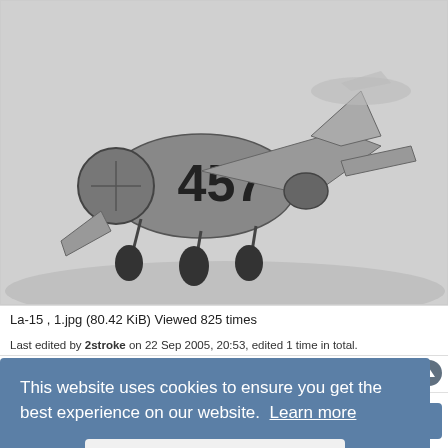[Figure (photo): Black and white photograph of a Soviet La-15 jet fighter aircraft numbered 457, on the ground, viewed from the front-left. The aircraft shows swept wings and landing gear.]
La-15 , 1.jpg (80.42 KiB) Viewed 825 times
Last edited by 2stroke on 22 Sep 2005, 20:53, edited 1 time in total.
This website uses cookies to ensure you get the best experience on our website.  Learn more
Got it!
2stroke
Member